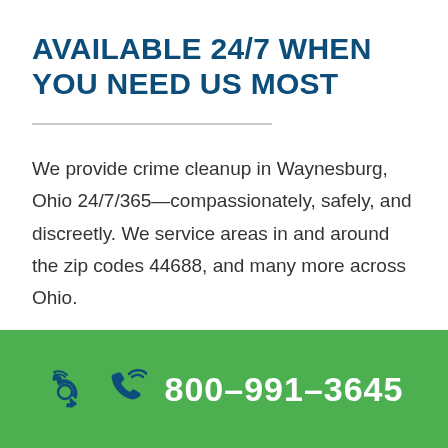AVAILABLE 24/7 WHEN YOU NEED US MOST
We provide crime cleanup in Waynesburg, Ohio 24/7/365—compassionately, safely, and discreetly. We service areas in and around the zip codes 44688, and many more across Ohio.
800-991-3645